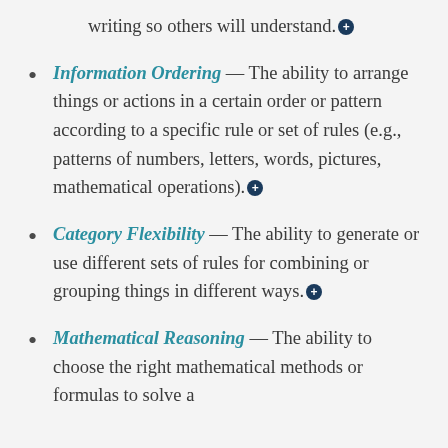writing so others will understand.
Information Ordering — The ability to arrange things or actions in a certain order or pattern according to a specific rule or set of rules (e.g., patterns of numbers, letters, words, pictures, mathematical operations).
Category Flexibility — The ability to generate or use different sets of rules for combining or grouping things in different ways.
Mathematical Reasoning — The ability to choose the right mathematical methods or formulas to solve a